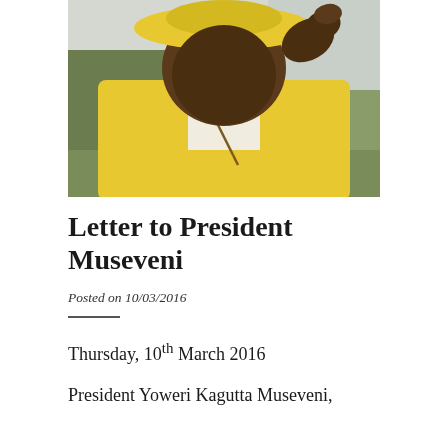[Figure (photo): A man wearing a bright yellow shirt and yellow wide-brimmed hat, raising his hand in a wave or greeting gesture, photographed outdoors with green foliage in the background.]
Letter to President Museveni
Posted on 10/03/2016
Thursday, 10th March 2016
President Yoweri Kagutta Museveni,